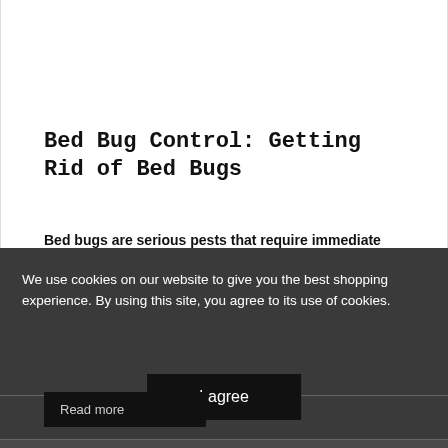Bed Bug Control: Getting Rid of Bed Bugs
Bed bugs are serious pests that require immediate attention. If you don't handle the infestation right away, it could spread to every part of your house.
Pest Library
We use cookies on our website to give you the best shopping experience. By using this site, you agree to its use of cookies.
Read more
I agree